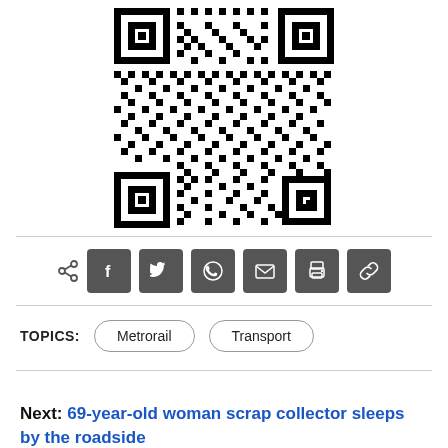[Figure (other): QR code, black and white, centered on page]
[Figure (infographic): Share icons row: share symbol followed by Facebook, Twitter, WhatsApp, Email, Print, Copy-link buttons (dark grey squares with white icons)]
TOPICS:  Metrorail  Transport
Next:  69-year-old woman scrap collector sleeps by the roadside